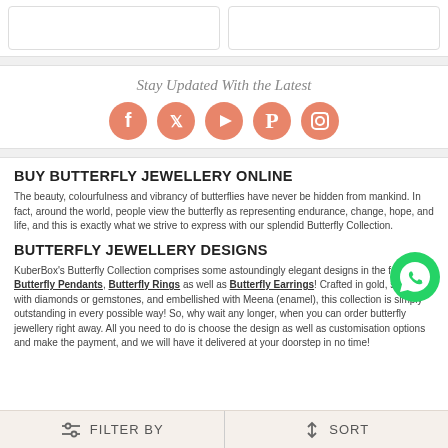[Figure (other): Two product card placeholders side by side at the top]
Stay Updated With the Latest
[Figure (other): Social media icons: Facebook, Twitter, YouTube, Pinterest, Instagram in salmon/orange color]
BUY BUTTERFLY JEWELLERY ONLINE
The beauty, colourfulness and vibrancy of butterflies have never be hidden from mankind. In fact, around the world, people view the butterfly as representing endurance, change, hope, and life, and this is exactly what we strive to express with our splendid Butterfly Collection.
BUTTERFLY JEWELLERY DESIGNS
KuberBox's Butterfly Collection comprises some astoundingly elegant designs in the form of Butterfly Pendants, Butterfly Rings as well as Butterfly Earrings! Crafted in gold, studded with diamonds or gemstones, and embellished with Meena (enamel), this collection is simply outstanding in every possible way! So, why wait any longer, when you can order butterfly jewellery right away. All you need to do is choose the design as well as customisation options and make the payment, and we will have it delivered at your doorstep in no time!
FILTER BY   SORT